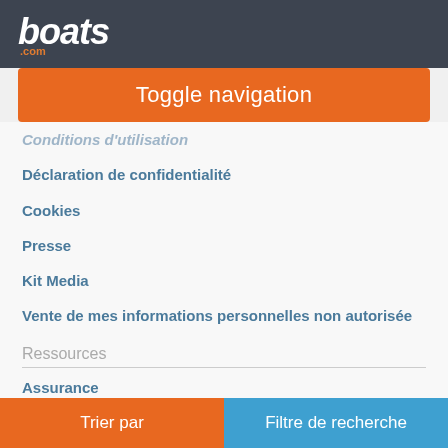[Figure (logo): boats.com logo in white italic bold text on dark gray header bar]
Toggle navigation
Conditions d'utilisation (partially visible)
Déclaration de confidentialité
Cookies
Presse
Kit Media
Vente de mes informations personnelles non autorisée
Ressources
Assurance
Suivre boats.com
[Figure (illustration): Social media icons: Facebook, Twitter, YouTube, Instagram in black rounded square buttons]
Trier par | Filtre de recherche